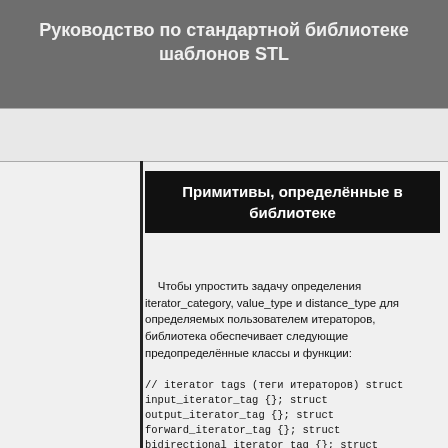Руководство по стандартной библиотеке шаблонов STL
Примитивы, определённые в библиотеке
Чтобы упростить задачу определения iterator_category, value_type и distance_type для определяемых пользователем итераторов, библиотека обеспечивает следующие предопределённые классы и функции:
// iterator tags (теги итераторов) struct input_iterator_tag {}; struct output_iterator_tag {}; struct forward_iterator_tag {}; struct bidirectional_iterator_tag {}; struct random_access_iterator_tag {}; // iterator bases (базовые классы итераторов) template